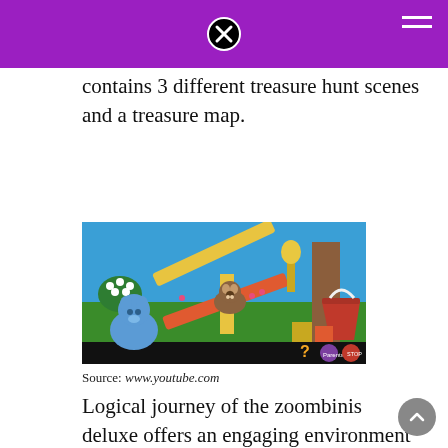contains 3 different treasure hunt scenes and a treasure map.
[Figure (screenshot): Screenshot of Blue's Clues educational game showing a cartoon outdoor scene with Blue the dog, a seesaw made of wooden planks, a groundhog, a red bucket, wooden blocks, and garden tools on a grassy background. Game UI shows a question mark, Parents button, and Stop button at the bottom.]
Source: www.youtube.com
Logical journey of the zoombinis deluxe offers an engaging environment for kids to develop advanced mathematical and